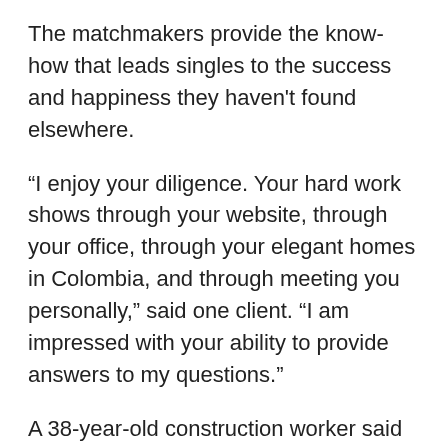The matchmakers provide the know-how that leads singles to the success and happiness they haven't found elsewhere.
“I enjoy your diligence. Your hard work shows through your website, through your office, through your elegant homes in Colombia, and through meeting you personally,” said one client. “I am impressed with your ability to provide answers to my questions.”
A 38-year-old construction worker said he wondered if the international marriage agency was for him, but the down-to-earth International Introductions team immediately set his mind at ease and sent him on the journey of a lifetime. “The trip was incredible and exceeded my expectations,” he said.